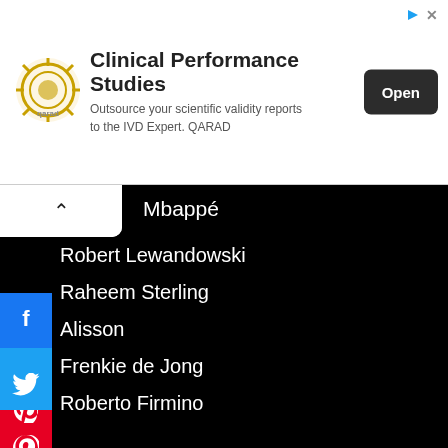[Figure (infographic): QARAD advertisement banner: Clinical Performance Studies — Outsource your scientific validity reports to the IVD Expert. QARAD. Open button.]
Mbappé
Robert Lewandowski
Raheem Sterling
Alisson
Frenkie de Jong
Roberto Firmino
Kevin De Bruyne
Sergio Agüero
Eden Hazard
Harry Kane
Bernardo Silva
Matthijs de Ligt